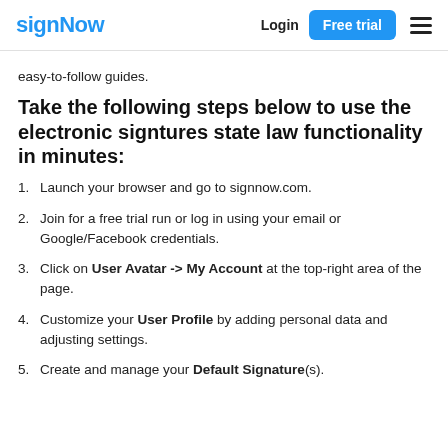signNow | Login | Free trial
easy-to-follow guides.
Take the following steps below to use the electronic signtures state law functionality in minutes:
1. Launch your browser and go to signnow.com.
2. Join for a free trial run or log in using your email or Google/Facebook credentials.
3. Click on User Avatar -> My Account at the top-right area of the page.
4. Customize your User Profile by adding personal data and adjusting settings.
5. Create and manage your Default Signature(s).